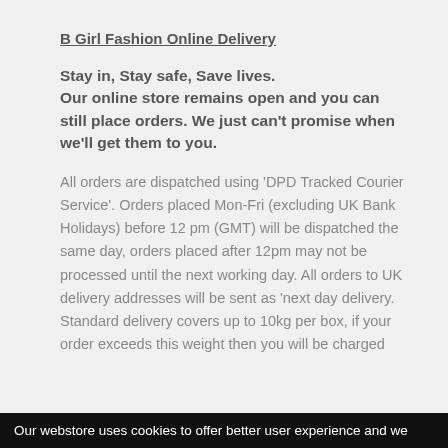B Girl Fashion Online Delivery
Stay in, Stay safe, Save lives. Our online store remains open and you can still place orders. We just can't promise when we'll get them to you.
All orders are dispatched using 'DPD Tracked Courier Service'. Orders placed Mon-Fri (excluding UK Bank Holidays) before 12 pm (GMT) will be dispatched the same day, orders placed after 12pm may not be processed until the next working day. All orders to UK delivery addresses will be sent as 'next day delivery. Standard delivery covers up to 10kg per box, if your order exceeds this weight then you will be charged
Our webstore uses cookies to offer better user experience and we